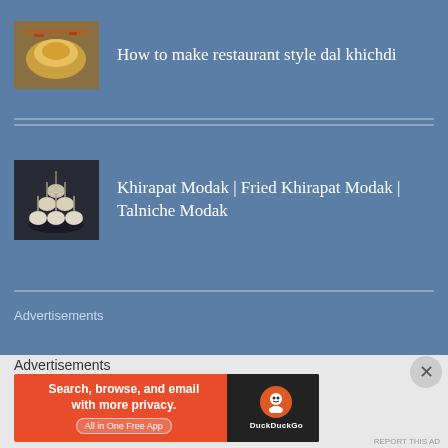[Figure (photo): Thumbnail of dal khichdi dish]
How to make restaurant style dal khichdi
[Figure (photo): Thumbnail of Khirapat Modak dish]
Khirapat Modak | Fried Khirapat Modak | Talniche Modak
Advertisements
Advertisements
[Figure (screenshot): DuckDuckGo advertisement banner: Search, browse, and email with more privacy. All in One Free App]